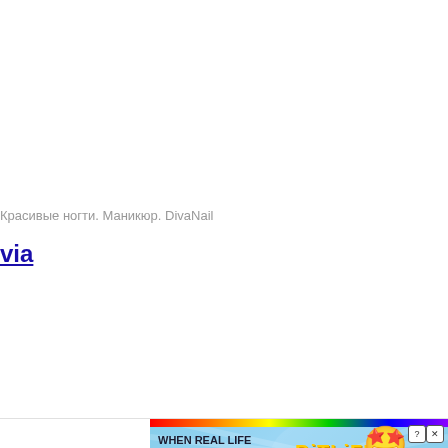Красивые ногти. Маникюр. DivaNail
via
[Figure (screenshot): BitLife advertisement banner with rainbow stripe at top, light blue ray background, bold text reading 'WHEN REAL LIFE IS QUARANTINED', sperm icon, yellow BitLife logo text, star-eyes emoji with mask, help and close buttons in top-right corner]